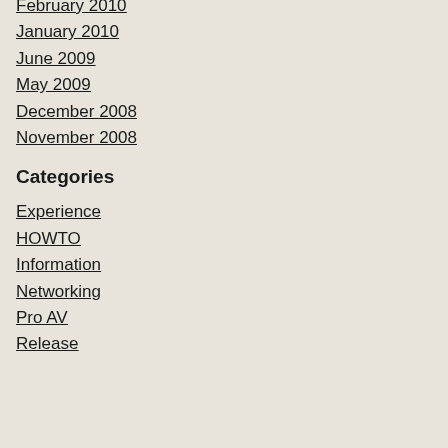February 2010
January 2010
June 2009
May 2009
December 2008
November 2008
Categories
Experience
HOWTO
Information
Networking
Pro AV
Release